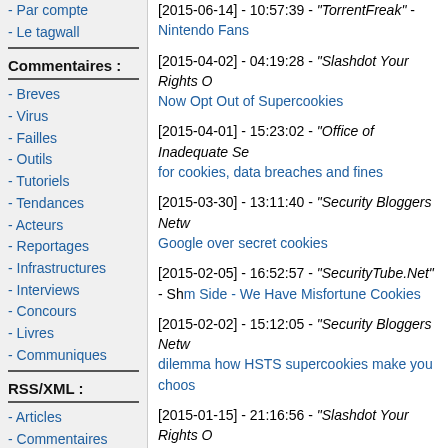- Par compte
- Le tagwall
Commentaires :
- Breves
- Virus
- Failles
- Outils
- Tutoriels
- Tendances
- Acteurs
- Reportages
- Infrastructures
- Interviews
- Concours
- Livres
- Communiques
RSS/XML :
- Articles
- Commentaires
- Revue
- Revue FR
- Videos
[2015-06-14] - 10:57:39 - "TorrentFreak" - Nintendo Fans
[2015-04-02] - 04:19:28 - "Slashdot Your Rights Online" - Now Opt Out of Supercookies
[2015-04-01] - 15:23:02 - "Office of Inadequate Security" - for cookies, data breaches and fines
[2015-03-30] - 13:11:40 - "Security Bloggers Network" - Google over secret cookies
[2015-02-05] - 16:52:57 - "SecurityTube.Net" - Shm Side - We Have Misfortune Cookies
[2015-02-02] - 15:12:05 - "Security Bloggers Network" - dilemma how HSTS supercookies make you choose
[2015-01-15] - 21:16:56 - "Slashdot Your Rights Online" - Tracking Header To Recreate Deleted Cookies
[2015-01-15] - 15:39:34 - "Security Bloggers Network" - and Verizon Are Killing Users Privacy